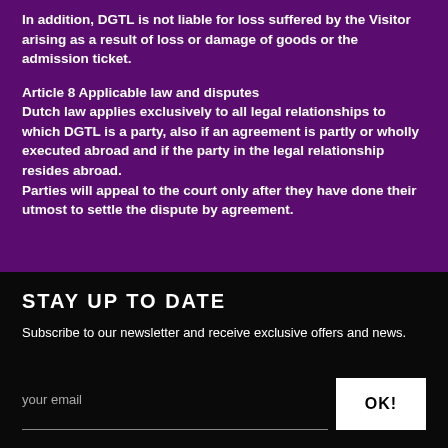In addition, DGTL is not liable for loss suffered by the Visitor arising as a result of loss or damage of goods or the admission ticket.
Article 8 Applicable law and disputes
Dutch law applies exclusively to all legal relationships to which DGTL is a party, also if an agreement is partly or wholly executed abroad and if the party in the legal relationship resides abroad.
Parties will appeal to the court only after they have done their utmost to settle the dispute by agreement.
STAY UP TO DATE
Subscribe to our newsletter and receive exclusive offers and news.
your email
OK!